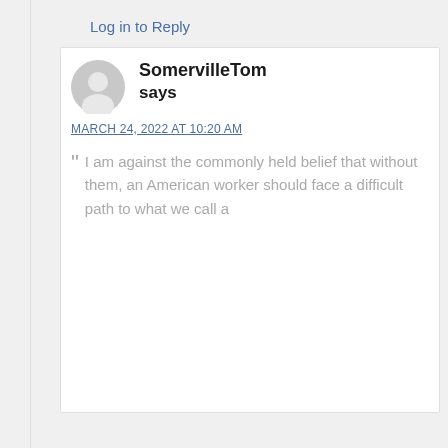Log in to Reply
SomervilleTom says
MARCH 24, 2022 AT 10:20 AM
“ I am against the commonly held belief that without them, an American worker should face a difficult path to what we call a